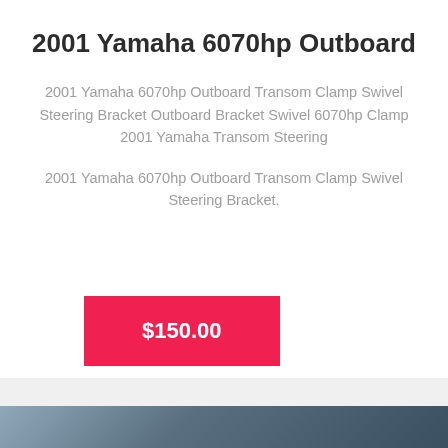2001 Yamaha 6070hp Outboard
2001 Yamaha 6070hp Outboard Transom Clamp Swivel Steering Bracket Outboard Bracket Swivel 6070hp Clamp 2001 Yamaha Transom Steering
2001 Yamaha 6070hp Outboard Transom Clamp Swivel Steering Bracket.
$150.00
[Figure (photo): Photograph of outboard motor bracket hardware, partially visible at bottom of page]